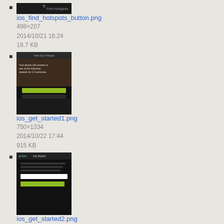ios_find_hotspots_button.png
498×207
2014/10/21 16:24
18.7 KB
ios_get_started1.png
750×1334
2014/10/22 17:44
915 KB
ios_get_started2.png
750×1334
2014/10/22 17:48